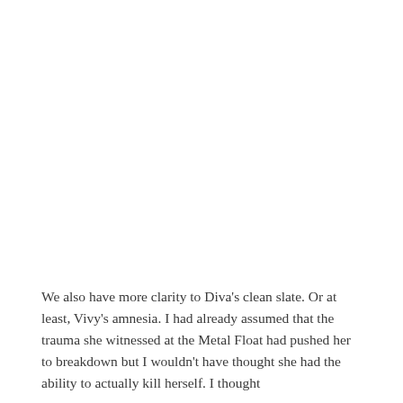We also have more clarity to Diva's clean slate. Or at least, Vivy's amnesia. I had already assumed that the trauma she witnessed at the Metal Float had pushed her to breakdown but I wouldn't have thought she had the ability to actually kill herself. I thought